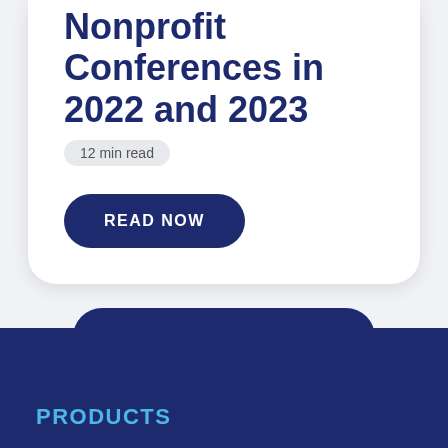Don't Miss These 14 Nonprofit Conferences in 2022 and 2023
12 min read
READ NOW
MORE RESOURCES
PRODUCTS